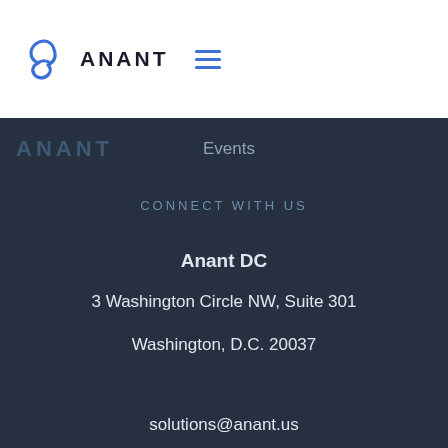[Figure (logo): Anant logo with blue Redux-style icon and ANANT text in dark, with hamburger menu icon]
ANANT   Events
CONNECT WITH US
Anant DC
3 Washington Circle NW, Suite 301
Washington, D.C. 20037
solutions@anant.us
(202) 905-2818
[Figure (infographic): LinkedIn, Twitter, and Facebook social media icons in teal circles]